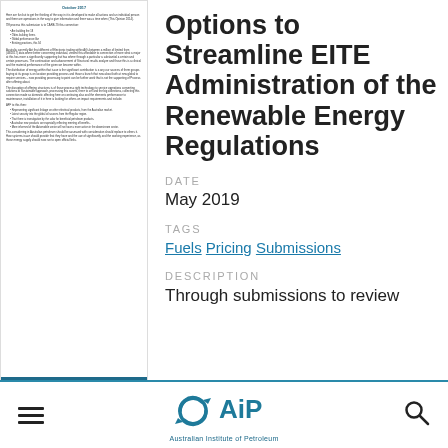[Figure (other): Thumbnail preview of a document page with text content and a teal footer bar]
Options to Streamline EITE Administration of the Renewable Energy Regulations
DATE
May 2019
TAGS
Fuels  Pricing  Submissions
DESCRIPTION
Through submissions to review
[Figure (logo): Australian Institute of Petroleum logo with circular arrows icon and AiP text, tagline: Australian Institute of Petroleum]
Australian Institute of Petroleum